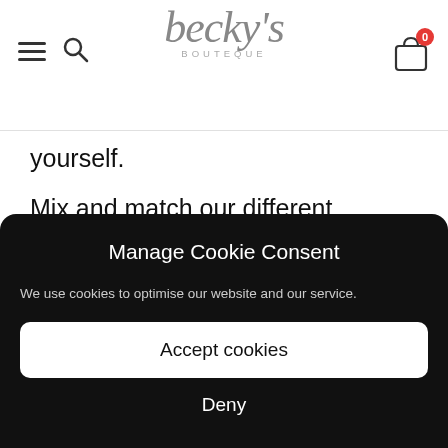[Figure (logo): Becky's Boutique logo with script font and shopping bag icon with cart badge showing 0]
yourself.
Mix and match our different stacking rings together to create the latest stacked rings trend.
Manage Cookie Consent
We use cookies to optimise our website and our service.
Accept cookies
Deny